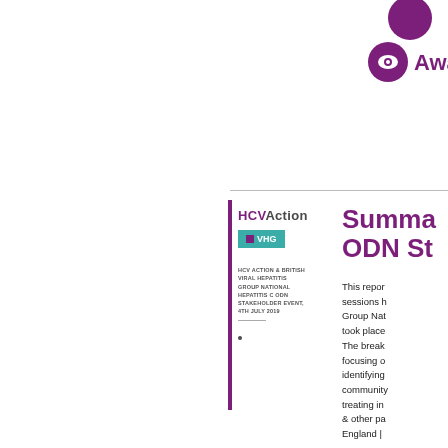[Figure (logo): Purple circular logo with eye icon and 'Awar...' text, HCV Action branding]
[Figure (logo): Book cover showing HCVAction and VHG logos with small print text about HCV Action & British Viral Hepatitis Group National Hepatitis C ODN Stakeholder Event, 4th July 2019]
Summary ODN St...
This report summarizes sessions held by the British Viral Hepatitis Group National Hepatitis C ODN that took place... The breakout sessions focusing on ... identifying ... community ... treating in ... & other pa... England | ...